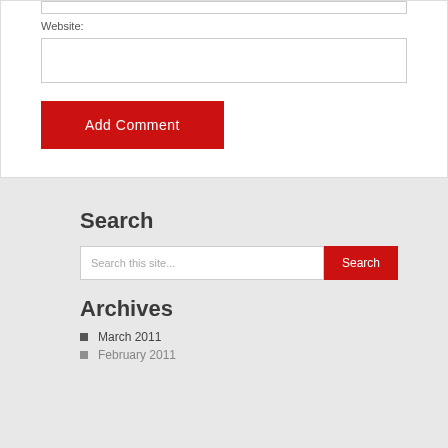Website:
Add Comment
Search
Search this site...
Archives
March 2011
February 2011